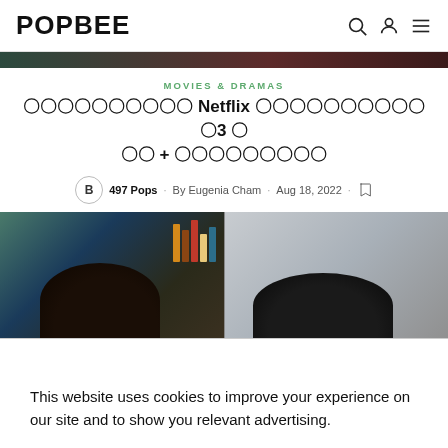POPBEE
[Figure (photo): Dark decorative banner strip with green and dark red gradient]
MOVIES & DRAMAS
？？？？？？？？？？ Netflix ？？？？？？？？？？？3 ？？ + ？？？？？？？？？
497 Pops · By Eugenia Cham · Aug 18, 2022
[Figure (photo): Two side-by-side photos showing characters from a Netflix drama, with dark hair visible against colorful backgrounds]
This website uses cookies to improve your experience on our site and to show you relevant advertising.